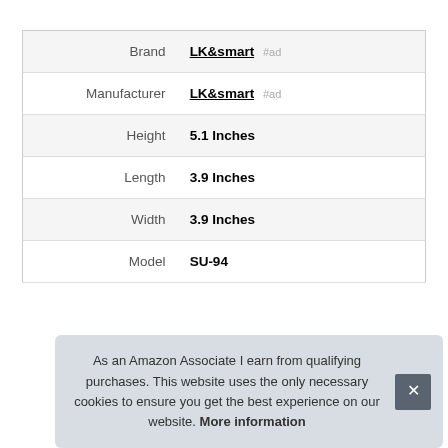|  |  |
| --- | --- |
| Brand | LK&smart #ad |
| Manufacturer | LK&smart #ad |
| Height | 5.1 Inches |
| Length | 3.9 Inches |
| Width | 3.9 Inches |
| Model | SU-94 |
More information #ad
As an Amazon Associate I earn from qualifying purchases. This website uses the only necessary cookies to ensure you get the best experience on our website. More information